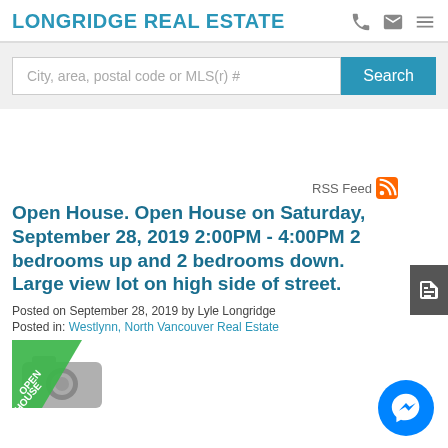LONGRIDGE REAL ESTATE
City, area, postal code or MLS(r) #
Search
RSS Feed
Open House. Open House on Saturday, September 28, 2019 2:00PM - 4:00PM 2 bedrooms up and 2 bedrooms down. Large view lot on high side of street.
Posted on September 28, 2019 by Lyle Longridge
Posted in: Westlynn, North Vancouver Real Estate
[Figure (illustration): Open house badge/label graphic with diagonal green banner reading OPEN HOUSE, overlaid on a grey camera/photo icon]